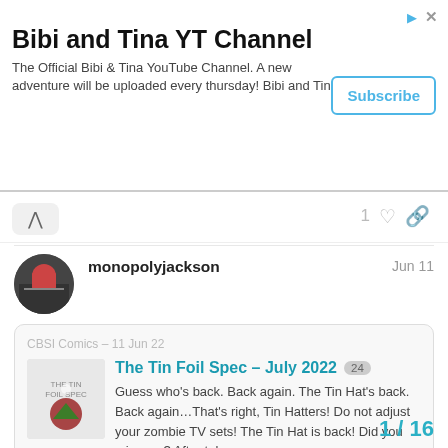[Figure (infographic): Advertisement banner for Bibi and Tina YT Channel with Subscribe button, arrow icon, and close icon]
Bibi and Tina YT Channel
The Official Bibi & Tina YouTube Channel. A new adventure will be uploaded every thursday! Bibi and Tina
monopolyjackson   Jun 11
CBSI Comics – 11 Jun 22
The Tin Foil Spec – July 2022  24
Guess who's back. Back again. The Tin Hat's back. Back again…That's right, Tin Hatters! Do not adjust your zombie TV sets! The Tin Hat is back! Did you miss me? After tak…
1 / 16